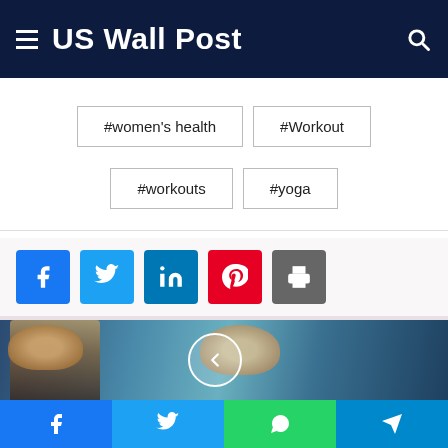US Wall Post
#women's health
#Workout
#workouts
#yoga
[Figure (screenshot): Social share buttons: Facebook, Twitter, LinkedIn, Pinterest, Print]
[Figure (photo): Harry Potter movie promotional image showing Harry Potter, Hermione Granger and other characters with a left navigation arrow overlay]
[Figure (screenshot): Bottom social sharing bar with Facebook, Twitter, WhatsApp, and Telegram buttons]